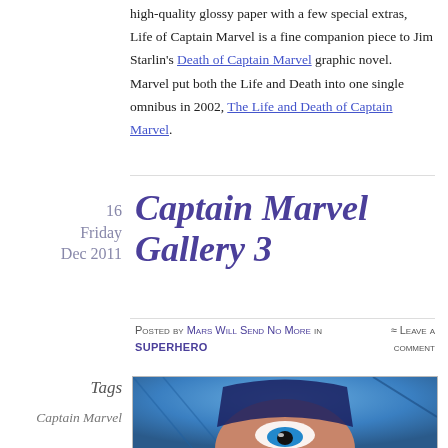high-quality glossy paper with a few special extras, Life of Captain Marvel is a fine companion piece to Jim Starlin's Death of Captain Marvel graphic novel. Marvel put both the Life and Death into one single omnibus in 2002, The Life and Death of Captain Marvel.
16
Friday
Dec 2011
Captain Marvel Gallery 3
Posted by Mars Will Send No More in superhero
≈ Leave a comment
Tags
Captain Marvel
[Figure (illustration): Comic book illustration of Captain Marvel character close-up, showing face with mask/helmet against blue background]